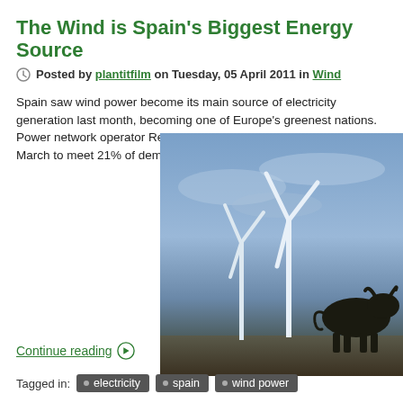The Wind is Spain's Biggest Energy Source
Posted by plantitfilm on Tuesday, 05 April 2011 in Wind
Spain saw wind power become its main source of electricity generation last month, becoming one of Europe's greenest nations. Power network operator Red Electric... 4,738 GWh of electricity in March to meet 21% of dema...
[Figure (photo): Wind turbines and silhouette of a bull against a cloudy blue sky in Spain]
Continue reading
Tagged in: electricity spain wind power